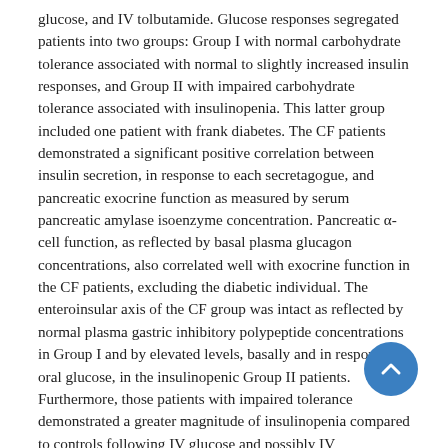glucose, and IV tolbutamide. Glucose responses segregated patients into two groups: Group I with normal carbohydrate tolerance associated with normal to slightly increased insulin responses, and Group II with impaired carbohydrate tolerance associated with insulinopenia. This latter group included one patient with frank diabetes. The CF patients demonstrated a significant positive correlation between insulin secretion, in response to each secretagogue, and pancreatic exocrine function as measured by serum pancreatic amylase isoenzyme concentration. Pancreatic α-cell function, as reflected by basal plasma glucagon concentrations, also correlated well with exocrine function in the CF patients, excluding the diabetic individual. The enteroinsular axis of the CF group was intact as reflected by normal plasma gastric inhibitory polypeptide concentrations in Group I and by elevated levels, basally and in response to oral glucose, in the insulinopenic Group II patients. Furthermore, those patients with impaired tolerance demonstrated a greater magnitude of insulinopenia compared to controls following IV glucose and possibly IV tolbutamide, than following oral glucose. Thus, these data suggest that loss of carbohydrate tolerance in patients with CF, like that seen with classical chronic pancreatitis, 1) parallels the loss of exocrine function, 2) is associated with an onset that is...